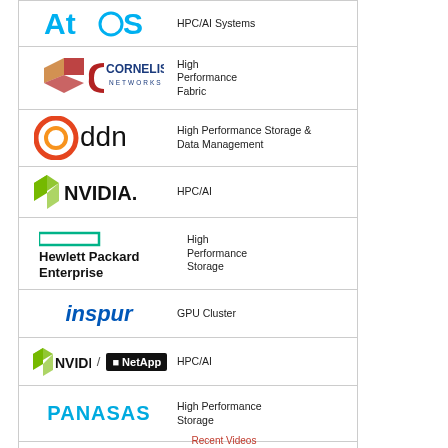[Figure (logo): Atos logo with text HPC/AI Systems]
[Figure (logo): Cornelis Networks logo with text High Performance Fabric]
[Figure (logo): DDN logo with text High Performance Storage & Data Management]
[Figure (logo): NVIDIA logo with text HPC/AI]
[Figure (logo): Hewlett Packard Enterprise logo with text High Performance Storage]
[Figure (logo): Inspur logo with text GPU Cluster]
[Figure (logo): NVIDIA / NetApp logos with text HPC/AI]
[Figure (logo): Panasas logo with text High Performance Storage]
[Figure (logo): Supermicro / AMD logos with text High Performance Servers]
Recent Videos